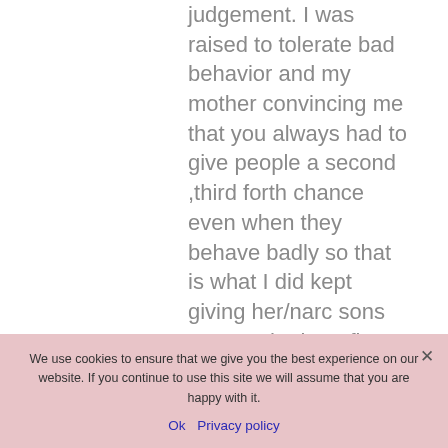judgement. I was raised to tolerate bad behavior and my mother convincing me that you always had to give people a second ,third forth chance even when they behave badly so that is what I did kept giving her/narc sons partner the benefit of...
We use cookies to ensure that we give you the best experience on our website. If you continue to use this site we will assume that you are happy with it.